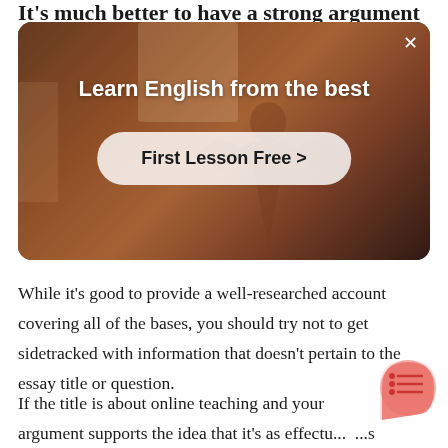It's much better to have a strong argument based
[Figure (screenshot): Advertisement banner for an English learning service. Shows a person in a room with text 'Learn English from the best' and a button 'First Lesson Free >' with a close (×) button in the top right corner.]
While it's good to provide a well-researched account covering all of the bases, you should try not to get sidetracked with information that doesn't pertain to the essay title or question.
If the title is about online teaching and your argument supports the idea that it's as effectu... ...s in-person teaching, you probably shouldn't talk too